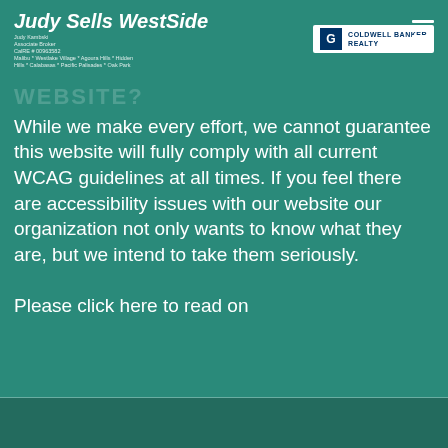Judy Sells WestSide | Judy Kambski Associate Broker CalRE # 00963582 Malibu * Westlake Village * Agoura Hills * Hidden Hills * Calabasas * Pacific Palisades * Oak Park | COLDWELL BANKER REALTY
While we make every effort, we cannot guarantee this website will fully comply with all current WCAG guidelines at all times. If you feel there are accessibility issues with our website our organization not only wants to know what they are, but we intend to take them seriously.

Please click here to read on